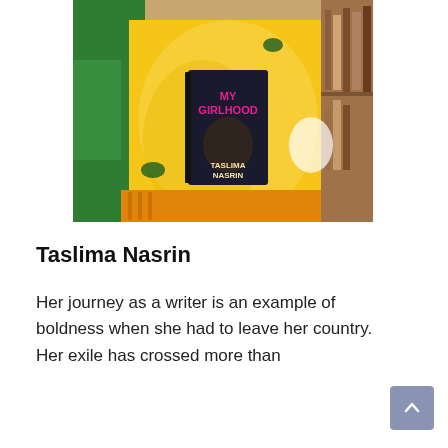[Figure (photo): A person wearing a green blouse and yellow saree holding a book titled 'My Girlhood' by Taslima Nasrin. Bookshelves visible in the background.]
Taslima Nasrin
Her journey as a writer is an example of boldness when she had to leave her country. Her exile has crossed more than